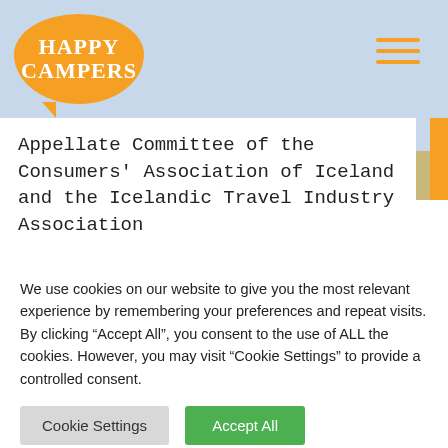[Figure (logo): Happy Campers logo — orange speech-bubble oval with white bold text reading HAPPY CAMPERS in two lines]
[Figure (illustration): Hamburger menu icon (three orange horizontal lines) in top-right corner]
Appellate Committee of the Consumers' Association of Iceland and the Icelandic Travel Industry Association
NEWSLETTER
We use cookies on our website to give you the most relevant experience by remembering your preferences and repeat visits. By clicking "Accept All", you consent to the use of ALL the cookies. However, you may visit "Cookie Settings" to provide a controlled consent.
Cookie Settings
Accept All